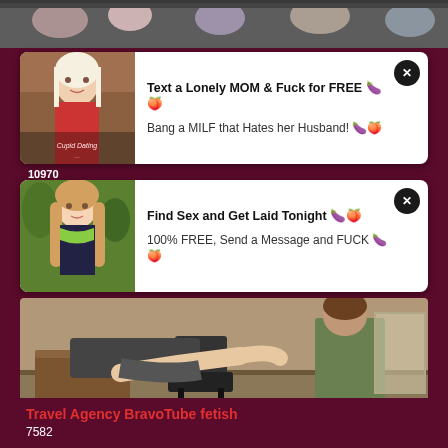[Figure (photo): Top image strip showing crowd scene]
[Figure (photo): Ad card 1 with woman photo thumbnail. Text: 'Text a Lonely MOM & Fuck for FREE 🍆🍑' and 'Bang a MILF that Hates her Husband! 🍆🍑']
10970
[Figure (photo): Ad card 2 with young woman with long hair thumbnail. Text: 'Find Sex and Get Laid Tonight 🍆🍑' and '100% FREE, Send a Message and FUCK 🍆🍑']
[Figure (photo): Video thumbnail showing two people in room with desk and office chair. Duration: 29:03]
Travel Agency BravoTube fetish
7582